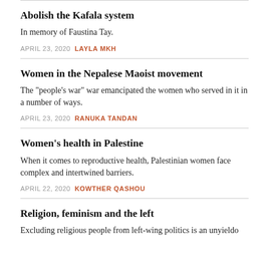Abolish the Kafala system
In memory of Faustina Tay.
APRIL 23, 2020 LAYLA MKH
Women in the Nepalese Maoist movement
The "people's war" war emancipated the women who served in it in a number of ways.
APRIL 23, 2020 RANUKA TANDAN
Women's health in Palestine
When it comes to reproductive health, Palestinian women face complex and intertwined barriers.
APRIL 22, 2020 KOWTHER QASHOU
Religion, feminism and the left
Excluding religious people from left-wing politics is an unyielding...